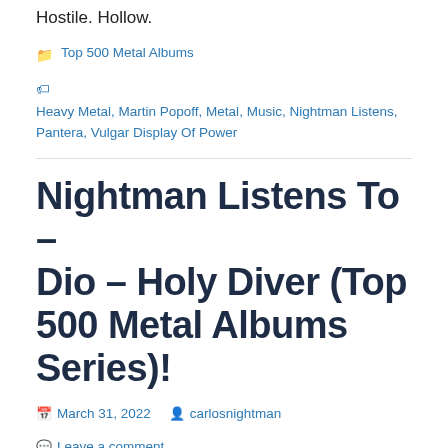Hostile. Hollow.
Top 500 Metal Albums
Heavy Metal, Martin Popoff, Metal, Music, Nightman Listens, Pantera, Vulgar Display Of Power
Nightman Listens To – Dio – Holy Diver (Top 500 Metal Albums Series)!
March 31, 2022  carlosnightman  Leave a comment
Greetings, Glancers! Last time around I was treated to